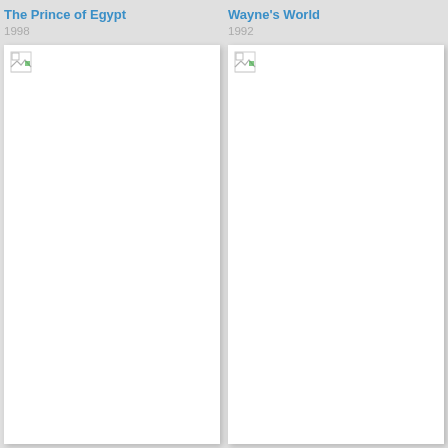[Figure (photo): Movie poster placeholder for The Prince of Egypt (blank white card with broken image icon)]
The Prince of Egypt
1998
[Figure (photo): Movie poster placeholder for Wayne's World (blank white card with broken image icon)]
Wayne's World
1992
[Figure (photo): Movie poster placeholder (blank white card with broken image icon)]
[Figure (photo): Movie poster placeholder (blank white card with broken image icon)]